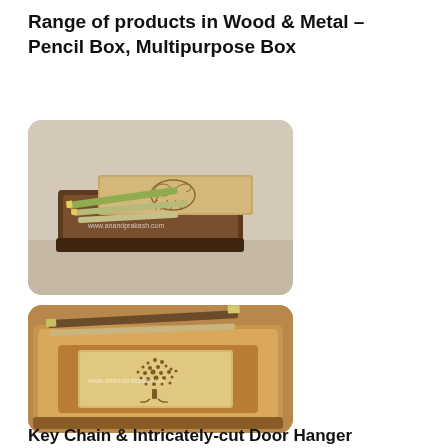Range of products in Wood & Metal – Pencil Box, Multipurpose Box
[Figure (photo): A wooden pencil box with a sliding brass/metal lid showing an engraved elephant design, containing several pencils. Watermark: www.anandprakash.com]
[Figure (photo): A wooden multipurpose box with a brass/metal inlay panel showing an engraved tree design (dots pattern), with pencils resting on top. Watermark: www.anandprakash.com]
Key Chain & Intricately-cut Door Hanger